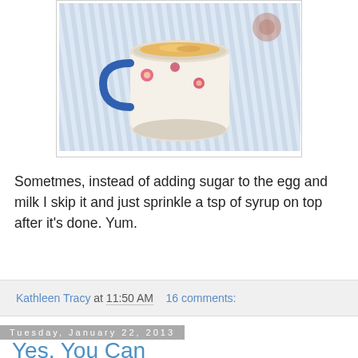[Figure (photo): A floral-decorated mug with food inside, sitting on a blue and white striped tablecloth]
Sometmes, instead of adding sugar to the egg and milk I skip it and just sprinkle a tsp of syrup on top after it's done. Yum.
Kathleen Tracy at 11:50 AM   16 comments:
Tuesday, January 22, 2013
Yes, You Can